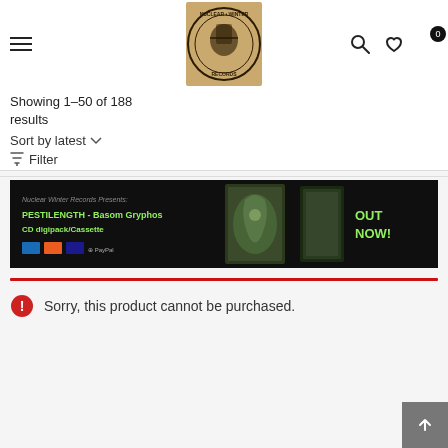[Figure (logo): Nuclear Winter Records circular logo with illustrated figure]
Showing 1–50 of 188 results
Sort by latest ▾
⊘ Filter
[Figure (infographic): Nuclear Winter Records Presents: PESTILENGTH - Basom Gryphos CD digipack/Cassette OUT NOW! banner ad with album artwork]
Sorry, this product cannot be purchased.